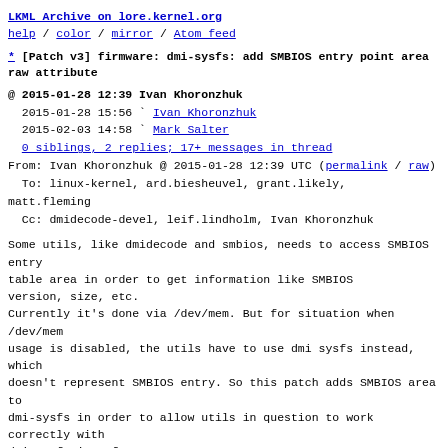LKML Archive on lore.kernel.org
help / color / mirror / Atom feed
* [Patch v3] firmware: dmi-sysfs: add SMBIOS entry point area raw attribute
@ 2015-01-28 12:39 Ivan Khoronzhuk
  2015-01-28 15:56 ` Ivan Khoronzhuk
  2015-02-03 14:58 ` Mark Salter
  0 siblings, 2 replies; 17+ messages in thread
From: Ivan Khoronzhuk @ 2015-01-28 12:39 UTC (permalink / raw)
  To: linux-kernel, ard.biesheuvel, grant.likely, matt.fleming
  Cc: dmidecode-devel, leif.lindholm, Ivan Khoronzhuk
Some utils, like dmidecode and smbios, needs to access SMBIOS entry
table area in order to get information like SMBIOS version, size, etc.
Currently it's done via /dev/mem. But for situation when /dev/mem
usage is disabled, the utils have to use dmi sysfs instead, which
doesn't represent SMBIOS entry. So this patch adds SMBIOS area to
dmi-sysfs in order to allow utils in question to work correctly with
dmi sysfs interface.
Reviewed-by: Ard Biesheuvel <ard.biesheuvel@linaro.org>